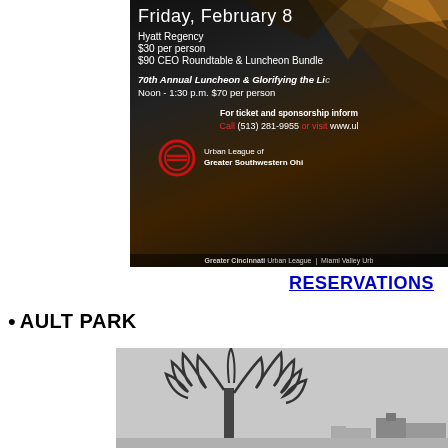[Figure (infographic): Dark polygon-textured event banner for Urban League of Greater Southwestern Ohio. Shows event details: Friday, February 8 at Hyatt Regency, $30 per person, $90 CEO Roundtable & Luncheon Bundle. 70th Annual Luncheon & Glorifying the Li... Noon - 1:30 p.m. $70 per person. For ticket and sponsorship inform... Call (513) 281-9955 or visit www.ul... Urban League logo. Greater Cincinnati Urban League | Miami Valley Urb...]
RESERVATIONS
AULT PARK
[Figure (photo): Black and white photo of a large bare tree in winter with a building or structure in the background, overcast sky.]